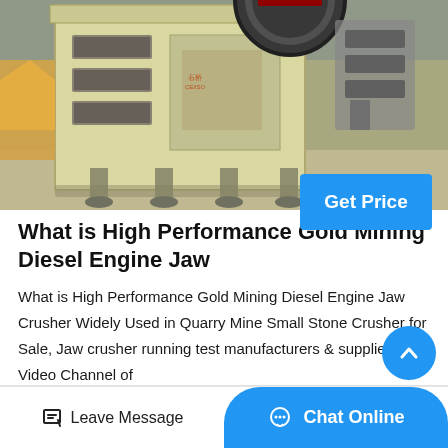[Figure (photo): Industrial jaw crusher machine in yellow/beige color on a factory floor, with a large flywheel at top and slotted frame structure, other machinery visible in background]
What is High Performance Gold Mining Diesel Engine Jaw
What is High Performance Gold Mining Diesel Engine Jaw Crusher Widely Used in Quarry Mine Small Stone Crusher for Sale, Jaw crusher running test manufacturers & suppliers on Video Channel of